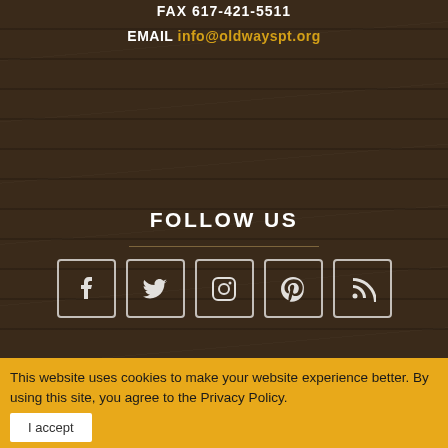FAX 617-421-5511
EMAIL info@oldwayspt.org
FOLLOW US
[Figure (infographic): Five social media icon boxes in a row: Facebook, Twitter, Instagram, Pinterest, RSS]
SUBSCRIBE
Get health information, news, & recipes via our program newsletters.
This website uses cookies to make your website experience better. By using this site, you agree to the Privacy Policy.
I accept